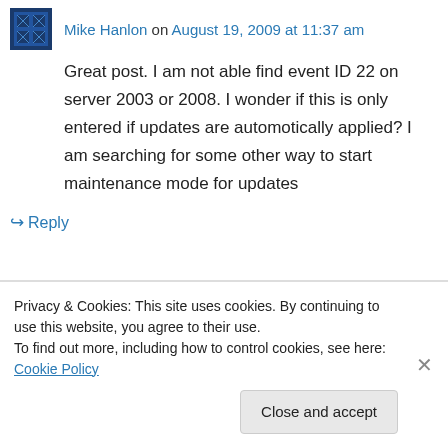Mike Hanlon on August 19, 2009 at 11:37 am
Great post. I am not able find event ID 22 on server 2003 or 2008. I wonder if this is only entered if updates are automotically applied? I am searching for some other way to start maintenance mode for updates
↪ Reply
Kristopher Bash on August 19, 2009 at 12:31
Privacy & Cookies: This site uses cookies. By continuing to use this website, you agree to their use.
To find out more, including how to control cookies, see here: Cookie Policy
Close and accept